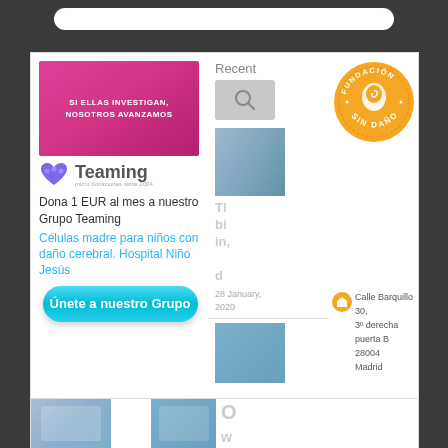[Figure (screenshot): Screenshot of a Spanish nonprofit website (Fundación Sin Daño) showing a Teaming fundraising widget, a pink banner saying 'Si ellas investigan, nosotros avanzamos', the Teaming logo, donate text, a link for 'Células madre para niños con daño cerebral. Hospital Niño Jesús', a cyan 'Únete a nuestro Grupo' button, a sidebar with recent posts, a Fundación Sin Daño orange badge, and address information for Calle Barquillo 30, 3° derecha puerta B, 28004 Madrid.]
Dona 1 EUR al mes a nuestro Grupo Teaming
Célulase madre para niños con daño cerebral. Hospital Niño Jesús
Únete a nuestro Grupo
Recent
28 January, 2020
Calle Barquillo 30, 3° derecha puerta B 28004 Madrid